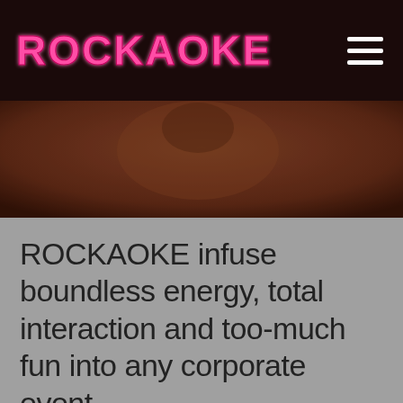ROCKAOKE
[Figure (photo): Dark blurred photo background showing what appears to be a performer on stage in warm brown/reddish tones]
ROCKAOKE infuse boundless energy, total interaction and too-much fun into any corporate event.
From intimate team building/bonding/knees-up events for 15 people to uber-scale, full-on international conferences –